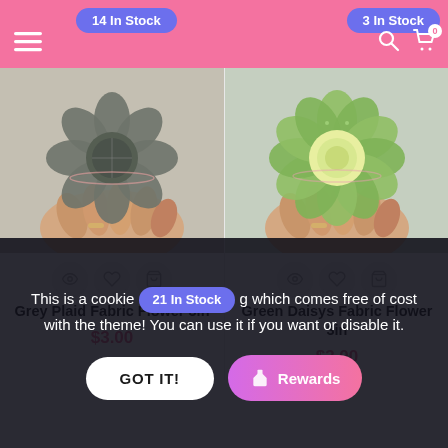14 In Stock | 3 In Stock
[Figure (photo): Hand holding a grey plaid fabric flower (yo-yo style), 3 inches, photographed on a light wood background]
[Figure (photo): Hand holding a green daisy fabric flower (yo-yo style), 3 inches, photographed on a light wood background]
Grey Plaid Fabric Flower 3in
Green Daisys Fabric Flower 3in
$3.00
$3.00
This is a cookie 21 In Stock g which comes free of cost with the theme! You can use it if you want or disable it.
GOT IT!
Rewards